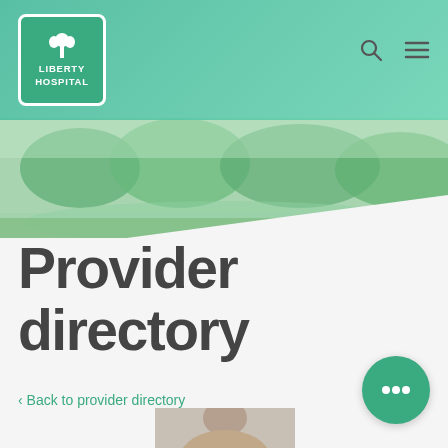[Figure (logo): Liberty Hospital logo with tree icon, white text on green background with white border]
[Figure (photo): Outdoor scenic photo with green grass, trees, and water — nature landscape background for hero banner]
Provider directory
< Back to provider directory
[Figure (photo): Partial photo of a medical provider at the bottom of the page]
[Figure (illustration): Green circular chat button with three dots (ellipsis) icon in white]